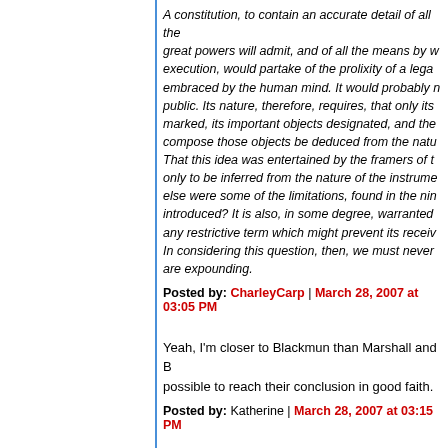A constitution, to contain an accurate detail of all the great powers will admit, and of all the means by which execution, would partake of the prolixity of a legal code, embraced by the human mind. It would probably never be public. Its nature, therefore, requires, that only its great marked, its important objects designated, and the minor compose those objects be deduced from the nature of those That this idea was entertained by the framers of the constitution only to be inferred from the nature of the instrument, else were some of the limitations, found in the ninth section, introduced? It is also, in some degree, warranted by their having any restrictive term which might prevent its receiving a fair...  In considering this question, then, we must never forget that we are expounding.
Posted by: CharleyCarp | March 28, 2007 at 03:05 PM
Yeah, I'm closer to Blackmun than Marshall and B... possible to reach their conclusion in good faith.
Posted by: Katherine | March 28, 2007 at 03:15 PM